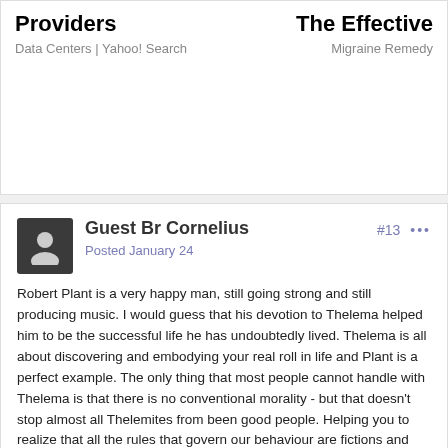Providers | Data Centers | Yahoo! Search    The Effective | Migraine Remedy
Guest Br Cornelius
Posted January 24
#13
Robert Plant is a very happy man, still going strong and still producing music. I would guess that his devotion to Thelema helped him to be the successful life he has undoubtedly lived. Thelema is all about discovering and embodying your real roll in life and Plant is a perfect example. The only thing that most people cannot handle with Thelema is that there is no conventional morality - but that doesn't stop almost all Thelemites from been good people. Helping you to realize that all the rules that govern our behaviour are fictions and choices.
Testing your psychological and neurological limits is what Magick is all about - actual physical tangible results is debatable, but is the hook that draws many in.
Br Cornelius